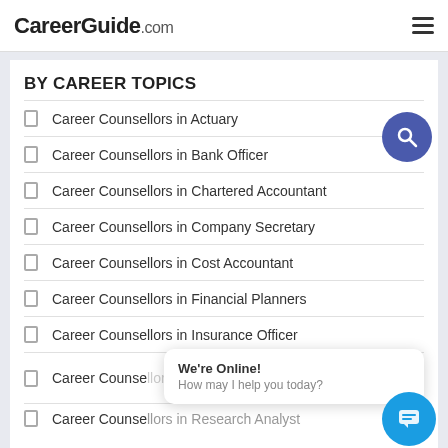CareerGuide.com
BY CAREER TOPICS
Career Counsellors in Actuary
Career Counsellors in Bank Officer
Career Counsellors in Chartered Accountant
Career Counsellors in Company Secretary
Career Counsellors in Cost Accountant
Career Counsellors in Financial Planners
Career Counsellors in Insurance Officer
Career Counsellors in [partially visible]
Career Counsellors in Research Analyst
We're Online! How may I help you today?